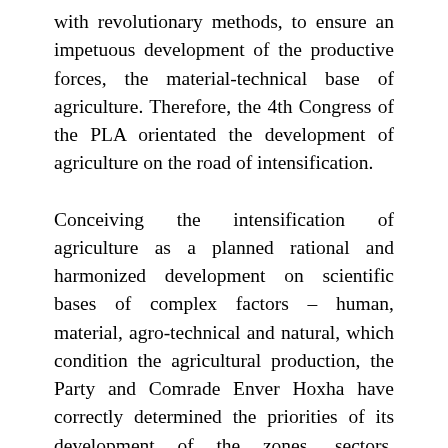with revolutionary methods, to ensure an impetuous development of the productive forces, the material-technical base of agriculture. Therefore, the 4th Congress of the PLA orientated the development of agriculture on the road of intensification.
Conceiving the intensification of agriculture as a planned rational and harmonized development on scientific bases of complex factors – human, material, agro-technical and natural, which condition the agricultural production, the Party and Comrade Enver Hoxha have correctly determined the priorities of its development of the zones, sectors, branches and crops in conformity with the development of agriculture and the tasks it has had in each stage of the country's socio-economic